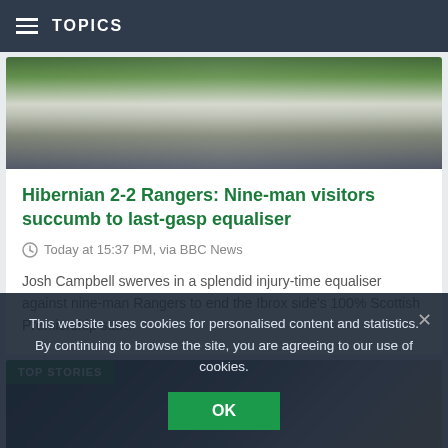TOPICS
[Figure (photo): Soccer players in green and white uniforms during a match]
Hibernian 2-2 Rangers: Nine-man visitors succumb to last-gasp equaliser
Today at 15:37 PM, via BBC News
Josh Campbell swerves in a splendid injury-time equaliser against nine-man Rangers to end the Ibrox side's 100% Scottish Premiership start.
TOP STORIES
[Figure (photo): Tottenham Hotspur footballer with crowd in background]
This website uses cookies for personalised content and statistics. By continuing to browse the site, you are agreeing to our use of cookies.